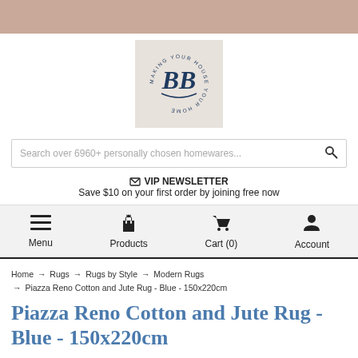[Figure (logo): BB brand logo with circular text 'MAKING YOUR HOUSE YOUR HOME' on a beige/tan background, featuring a stylized 'BB' monogram in navy blue]
Search over 6960+ personally chosen homewares...
✉ VIP NEWSLETTER
Save $10 on your first order by joining free now
Menu  Products  Cart (0)  Account
Home → Rugs → Rugs by Style → Modern Rugs → Piazza Reno Cotton and Jute Rug - Blue - 150x220cm
Piazza Reno Cotton and Jute Rug - Blue - 150x220cm